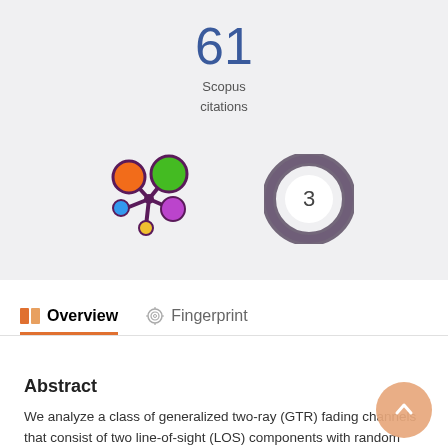61
Scopus
citations
[Figure (logo): Colorful multi-node graph icon (Scopus/Elsevier style) with orange, green, blue, purple, yellow circles connected by dark purple lines]
[Figure (other): Dark circular swirl icon with number 3 in center, representing citation count badge]
Overview
Fingerprint
Abstract
We analyze a class of generalized two-ray (GTR) fading channels that consist of two line-of-sight (LOS) components with random phase plus a diffuse component. We derive a closed-form